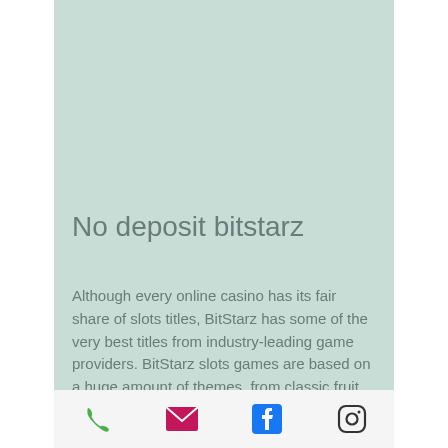No deposit bitstarz
Although every online casino has its fair share of slots titles, BitStarz has some of the very best titles from industry-leading game providers. BitStarz slots games are based on a huge amount of themes, from classic fruit reels to the popular TV-show Narcos, and Wild West fantasy games ’ every slots fan is sure to find a favorite. Many BitStarz slots games also generate huge jackpots, sometimes worth millions of euros, which one lucky player can scoop up, no deposit bitstarz
[Figure (infographic): Bottom navigation bar with four icons: phone (green), email/envelope (pink/red), Facebook (blue), Instagram (dark outline)]